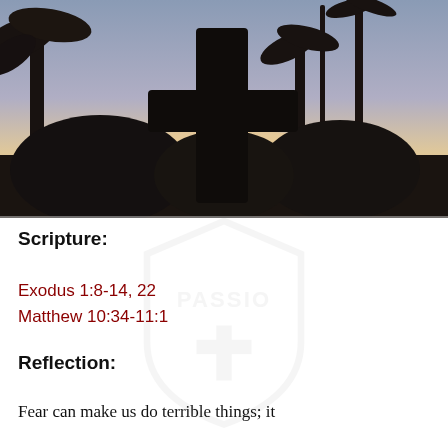[Figure (photo): Silhouette of a large cross against a twilight sky with palm trees and dark foliage in the background. Warm orange and purple hues in the sky.]
Scripture:
Exodus 1:8-14, 22
Matthew 10:34-11:1
Reflection:
Fear can make us do terrible things; it